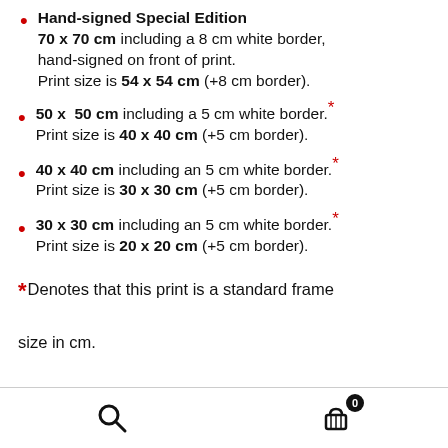Hand-signed Special Edition 70 x 70 cm including a 8 cm white border, hand-signed on front of print. Print size is 54 x 54 cm (+8 cm border).
50 x 50 cm including a 5 cm white border.* Print size is 40 x 40 cm (+5 cm border).
40 x 40 cm including an 5 cm white border.* Print size is 30 x 30 cm (+5 cm border).
30 x 30 cm including an 5 cm white border.* Print size is 20 x 20 cm (+5 cm border).
* Denotes that this print is a standard frame size in cm.
Search | Cart (0)